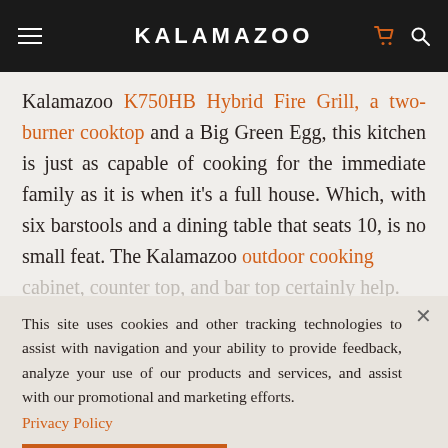KALAMAZOO
Kalamazoo K750HB Hybrid Fire Grill, a two-burner cooktop and a Big Green Egg, this kitchen is just as capable of cooking for the immediate family as it is when it's a full house. Which, with six barstools and a dining table that seats 10, is no small feat. The Kalamazoo outdoor cooking cabinet, counter top, and bar top certainly help.
This site uses cookies and other tracking technologies to assist with navigation and your ability to provide feedback, analyze your use of our products and services, and assist with our promotional and marketing efforts. Privacy Policy
ACCEPT COOKIES
For this project, it was essential that the kitchen appliances were independent of the kitchen inside.